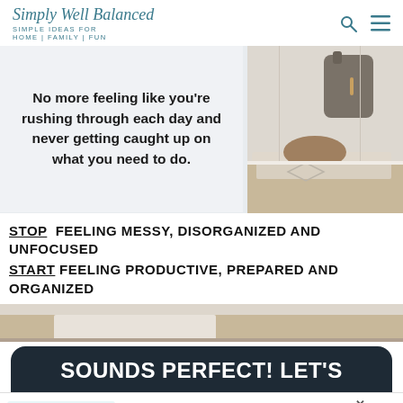Simply Well Balanced — SIMPLE IDEAS FOR HOME|FAMILY|FUN
[Figure (photo): Hero banner image showing a mudroom entryway with a backpack hanging on the wall, a cushion on a bench seat, and a text overlay on a light background reading: No more feeling like you're rushing through each day and never getting caught up on what you need to do.]
STOP FEELING MESSY, DISORGANIZED AND UNFOCUSED
START FEELING PRODUCTIVE, PREPARED AND ORGANIZED
[Figure (photo): Partial bottom of the hero image showing a mudroom floor area]
SOUNDS PERFECT! LET'S
[Figure (screenshot): Advertisement banner: It's time to talk about Alzheimer's. LEARN MORE. Alzheimer's Association logo. Close X button.]